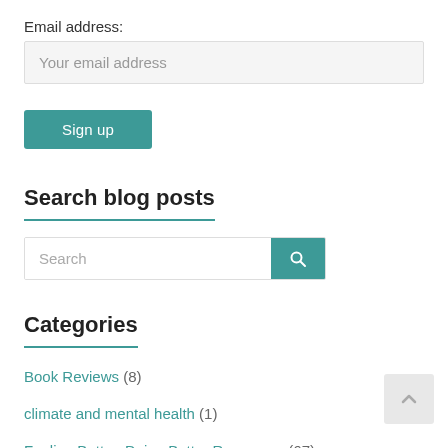Email address:
Your email address
Sign up
Search blog posts
Search
Categories
Book Reviews (8)
climate and mental health (1)
Feeling Better, Doing Better Resources (67)